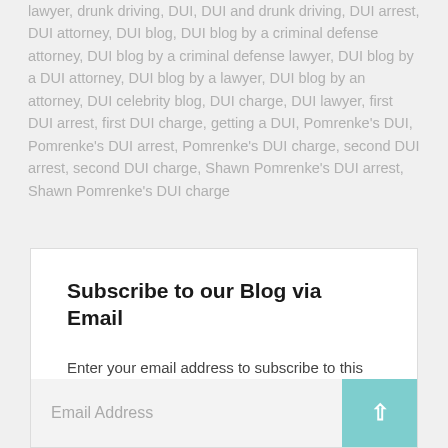lawyer, drunk driving, DUI, DUI and drunk driving, DUI arrest, DUI attorney, DUI blog, DUI blog by a criminal defense attorney, DUI blog by a criminal defense lawyer, DUI blog by a DUI attorney, DUI blog by a lawyer, DUI blog by an attorney, DUI celebrity blog, DUI charge, DUI lawyer, first DUI arrest, first DUI charge, getting a DUI, Pomrenke's DUI, Pomrenke's DUI arrest, Pomrenke's DUI charge, second DUI arrest, second DUI charge, Shawn Pomrenke's DUI arrest, Shawn Pomrenke's DUI charge
Subscribe to our Blog via Email
Enter your email address to subscribe to this blog and receive notifications of new posts by email.
Email Address